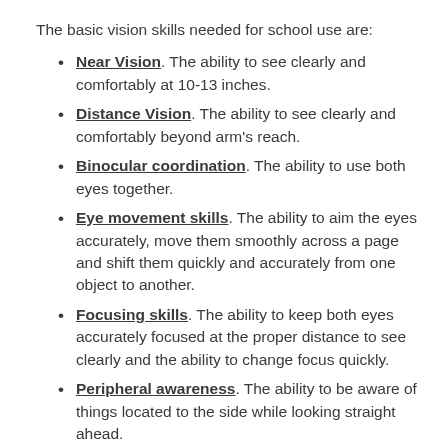The basic vision skills needed for school use are:
Near Vision. The ability to see clearly and comfortably at 10-13 inches.
Distance Vision. The ability to see clearly and comfortably beyond arm's reach.
Binocular coordination. The ability to use both eyes together.
Eye movement skills. The ability to aim the eyes accurately, move them smoothly across a page and shift them quickly and accurately from one object to another.
Focusing skills. The ability to keep both eyes accurately focused at the proper distance to see clearly and the ability to change focus quickly.
Peripheral awareness. The ability to be aware of things located to the side while looking straight ahead.
Eye/hand coordination. The ability to use the eyes and hands together.
If any of these or other vision skills is lacking or does not function properly, your child will have to work harder. This can lead to headaches, fatigue, and other eyestrain problems. As a parent, be alert for symptoms that may...